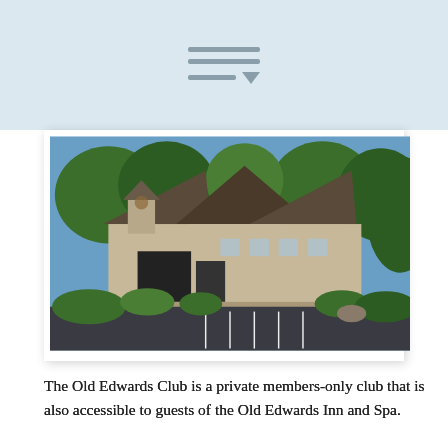[Figure (photo): Aerial or elevated view of the Old Edwards Club clubhouse, a rustic building with dark shingled roof, surrounded by lush green trees and landscaping, with a parking lot in the foreground.]
The Old Edwards Club is a private members-only club that is also accessible to guests of the Old Edwards Inn and Spa.
The rustically elegant architecture of the clubhouse, as well as the warm wood and rich leather of the interior, promote full relaxation and an incomparable air of carefree leisure. The Tom Jackson designed golf course is an architectural marvel that cascades along the Eastern Continental Divide in the mountains